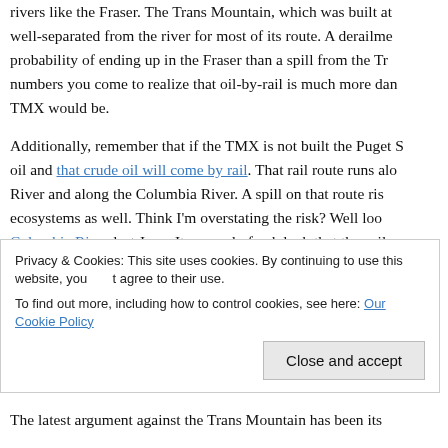rivers like the Fraser. The Trans Mountain, which was built well-separated from the river for most of its route. A derailment probability of ending up in the Fraser than a spill from the Trans Mountain. numbers you come to realize that oil-by-rail is much more dangerous than TMX would be.
Additionally, remember that if the TMX is not built the Puget Sound oil and that crude oil will come by rail. That rail route runs along the Columbia River and along the Columbia River. A spill on that route risks those ecosystems as well. Think I'm overstating the risk? Well look at the Columbia River last June. It was only freak luck that the spill was contained. Think that was a freak event? According to the Guardian, including trains have been involved in major fires or derailments during Canada. Finally if the TMX is not approved that rail traffic is
Privacy & Cookies: This site uses cookies. By continuing to use this website, you agree to their use.
To find out more, including how to control cookies, see here: Our Cookie Policy
The latest argument against the Trans Mountain has been its